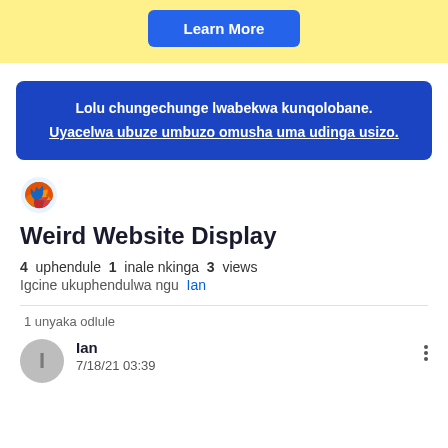[Figure (screenshot): Yellow banner with a blue 'Learn More' button]
Lolu chungechunge lwabekwa kunqolobane. Uyacelwa ubuze umbuzo omusha uma udinga usizo.
[Figure (logo): Firefox browser logo icon]
Weird Website Display
4 uphendule 1 inale nkinga 3 views Igcine ukuphendulwa ngu Ian
1 unyaka odlule
Ian 7/18/21 03:39